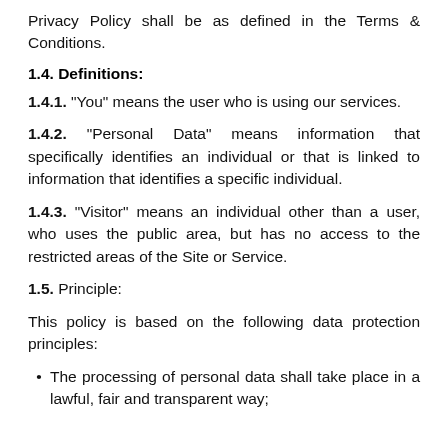Privacy Policy shall be as defined in the Terms & Conditions.
1.4. Definitions:
1.4.1. “You” means the user who is using our services.
1.4.2. “Personal Data” means information that specifically identifies an individual or that is linked to information that identifies a specific individual.
1.4.3. “Visitor” means an individual other than a user, who uses the public area, but has no access to the restricted areas of the Site or Service.
1.5. Principle:
This policy is based on the following data protection principles:
The processing of personal data shall take place in a lawful, fair and transparent way;